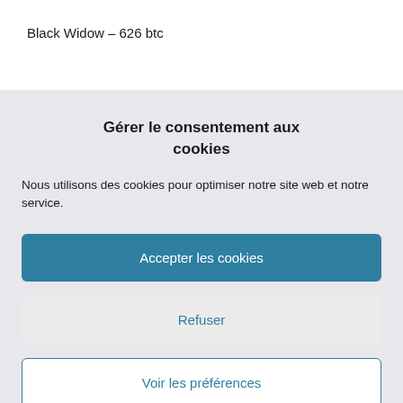Black Widow – 626 btc
Gérer le consentement aux cookies
Nous utilisons des cookies pour optimiser notre site web et notre service.
Accepter les cookies
Refuser
Voir les préférences